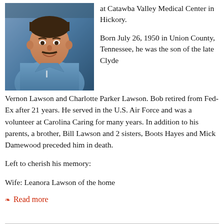[Figure (photo): Portrait photo of a man in a blue shirt, smiling, middle-aged with a mustache.]
at Catawba Valley Medical Center in Hickory.

Born July 26, 1950 in Union County, Tennessee, he was the son of the late Clyde Vernon Lawson and Charlotte Parker Lawson. Bob retired from Fed-Ex after 21 years. He served in the U.S. Air Force and was a volunteer at Carolina Caring for many years. In addition to his parents, a brother, Bill Lawson and 2 sisters, Boots Hayes and Mick Damewood preceded him in death.
Left to cherish his memory:
Wife: Leanora Lawson of the home
❧ Read more